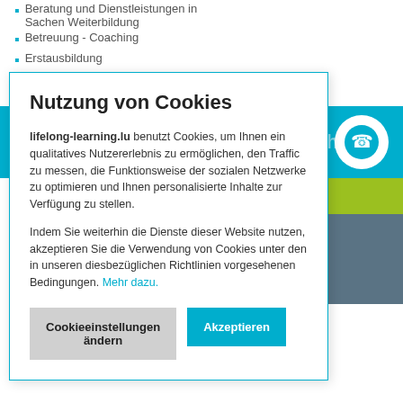Beratung und Dienstleistungen in Sachen Weiterbildung
Betreuung - Coaching
Erstausbildung
Mediation
Planung Bildungsweg
[Figure (screenshot): Cyan banner with partially visible text 'Kontakt mit dem Anbieter aufnehmen' and phone icon circle on right]
[Figure (screenshot): Green and gray colored sidebar blocks on right side]
Nutzung von Cookies
lifelong-learning.lu benutzt Cookies, um Ihnen ein qualitatives Nutzererlebnis zu ermöglichen, den Traffic zu messen, die Funktionsweise der sozialen Netzwerke zu optimieren und Ihnen personalisierte Inhalte zur Verfügung zu stellen.
Indem Sie weiterhin die Dienste dieser Website nutzen, akzeptieren Sie die Verwendung von Cookies unter den in unseren diesbezüglichen Richtlinien vorgesehenen Bedingungen. Mehr dazu.
Cookieeinstellungen ändern
Akzeptieren